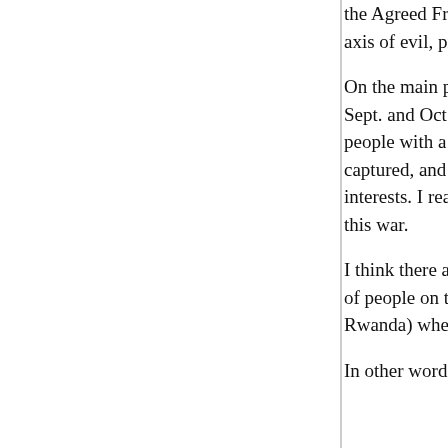the Agreed Framework was in response to: (a) the decision to put it on hold pending reevaluation, (b) the axis of evil, preemptive war doctrine.
On the main point, though: back when Karl Rove was wanting to offer therapy to the terrorists, people were in Sept. and Oct. 2001 that showed very large majorities in favor of going to war with Afghanistan. That's o people with a demonstrated desire to kill us. Likewise the grounds that those very same people who was captured, and we did not want to divert attention from grounds that we thought it would be, in all likelihood interests. I really wish I had been wrong, but I don completely reject the idea that it was back-door pa this war.
I think there are people on the left (and some on the right) in all cases or in all but a vanishingly small number, but lots of people on the left (like me) who hate war (which) prepared to fight wars when it's necessary, and also Rwanda) when it's not, but when a clear humanitarian the limited application of force.
In other words, I think you're probably right about (I mean, you'd know better than I would), but I don't